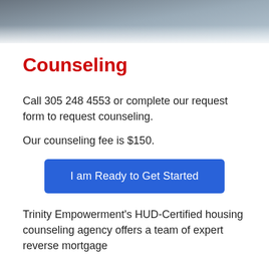[Figure (photo): Banner photo showing hands at a desk with documents and laptop, cropped to show the bottom portion with hands]
Counseling
Call 305 248 4553 or complete our request form to request counseling.
Our counseling fee is $150.
I am Ready to Get Started
Trinity Empowerment's HUD-Certified housing counseling agency offers a team of expert reverse mortgage